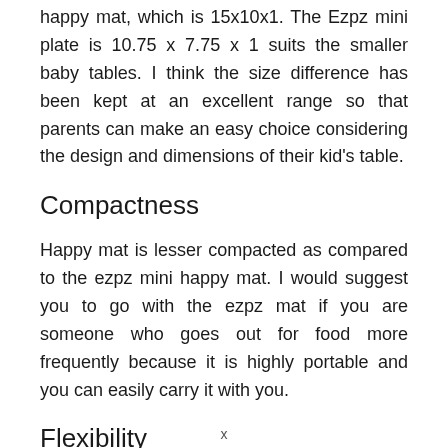happy mat, which is 15x10x1. The Ezpz mini plate is 10.75 x 7.75 x 1 suits the smaller baby tables. I think the size difference has been kept at an excellent range so that parents can make an easy choice considering the design and dimensions of their kid's table.
Compactness
Happy mat is lesser compacted as compared to the ezpz mini happy mat. I would suggest you to go with the ezpz mat if you are someone who goes out for food more frequently because it is highly portable and you can easily carry it with you.
Flexibility
x